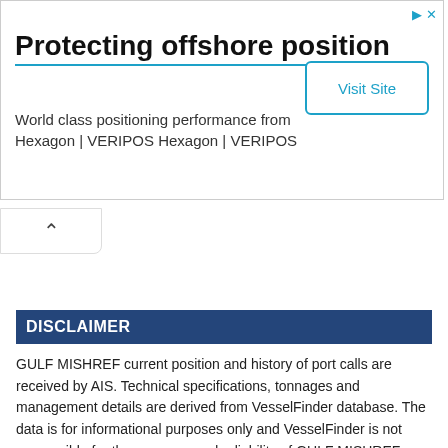[Figure (screenshot): Advertisement banner for Hexagon VERIPOS with title 'Protecting offshore position', subtitle 'World class positioning performance from Hexagon | VERIPOS Hexagon | VERIPOS', and a 'Visit Site' button.]
DISCLAIMER
GULF MISHREF current position and history of port calls are received by AIS. Technical specifications, tonnages and management details are derived from VesselFinder database. The data is for informational purposes only and VesselFinder is not responsible for the accuracy and reliability of GULF MISHREF data.